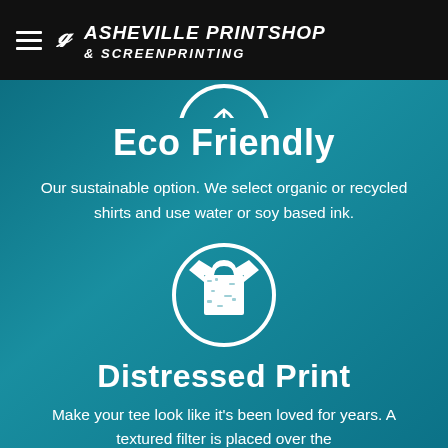Asheville Printshop & Screenprinting
[Figure (illustration): Partial eco-friendly circular icon (cropped at top)]
Eco Friendly
Our sustainable option. We select organic or recycled shirts and use water or soy based ink.
[Figure (illustration): Circle icon containing a t-shirt graphic representing distressed print service]
Distressed Print
Make your tee look like it's been loved for years. A textured filter is placed over the